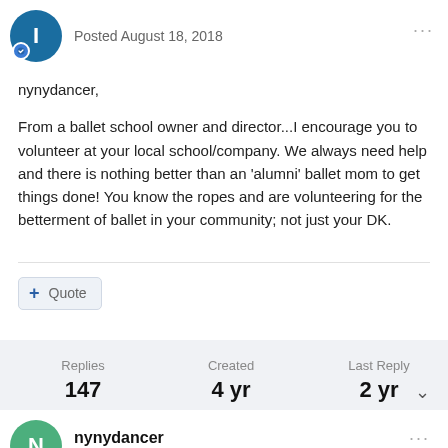Posted August 18, 2018
nynydancer,
From a ballet school owner and director...I encourage you to volunteer at your local school/company. We always need help and there is nothing better than an 'alumni' ballet mom to get things done! You know the ropes and are volunteering for the betterment of ballet in your community; not just your DK.
+ Quote
| Replies | Created | Last Reply |
| --- | --- | --- |
| 147 | 4 yr | 2 yr |
nynydancer
Posted August 18, 2018